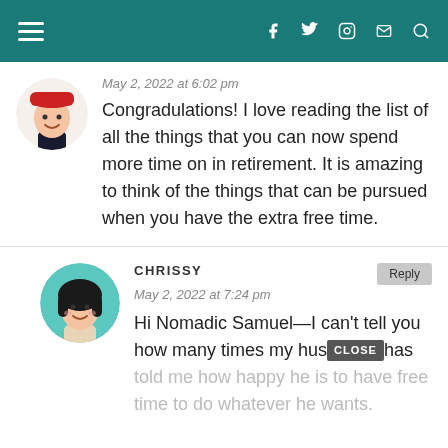Navigation header with hamburger menu and social icons: f, twitter, instagram, mail, search
May 2, 2022 at 6:02 pm
Congradulations! I love reading the list of all the things that you can now spend more time on in retirement. It is amazing to think of the things that can be pursued when you have the extra free time.
CHRISSY
May 2, 2022 at 7:24 pm
Hi Nomadic Samuel—I can't tell you how many times my hus[CLOSE]has told me how happy he is to have free time to do whatever he wants.